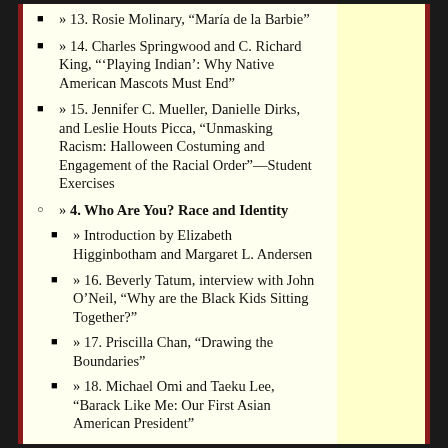» 13. Rosie Molinary, “María de la Barbie”
» 14. Charles Springwood and C. Richard King, “‘Playing Indian’: Why Native American Mascots Must End”
» 15. Jennifer C. Mueller, Danielle Dirks, and Leslie Houts Picca, “Unmasking Racism: Halloween Costuming and Engagement of the Racial Order”—Student Exercises
» 4. Who Are You? Race and Identity
» Introduction by Elizabeth Higginbotham and Margaret L. Andersen
» 16. Beverly Tatum, interview with John O’Neil, “Why are the Black Kids Sitting Together?”
» 17. Priscilla Chan, “Drawing the Boundaries”
» 18. Michael Omi and Taeku Lee, “Barack Like Me: Our First Asian American President”
» 19. Tim Wise, “White Like Me: Reflections on Race from a Privileged”